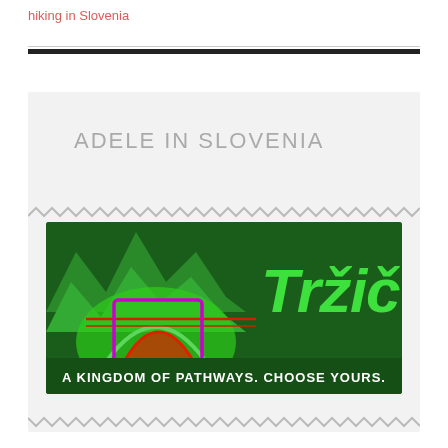hiking in Slovenia
[Figure (logo): Tržič tourism logo on dark green background with mountain silhouettes and colored arch symbol. Text: Tržič. Slogan: A KINGDOM OF PATHWAYS. CHOOSE YOURS.]